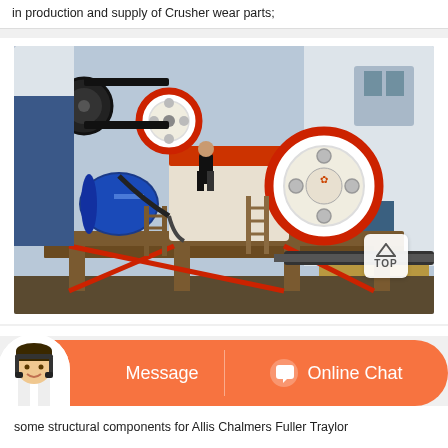in production and supply of Crusher wear parts;
[Figure (photo): Industrial jaw crusher machine on a metal frame platform, with large red and white flywheels, a blue electric motor, and ladders, photographed outdoors near a building]
Cedar Rapids Crusher Dealer S Crusher Usa
some structural components for Allis Chalmers Fuller Traylor